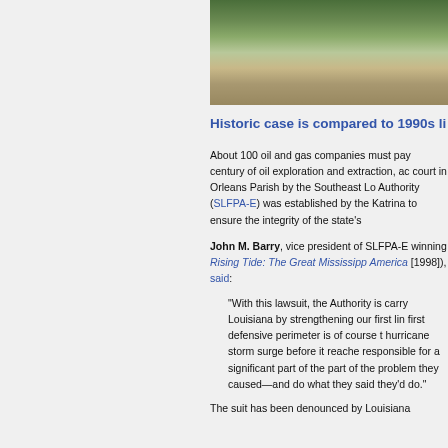[Figure (photo): Aerial or close-up photograph of wetlands/marsh area with green vegetation and sandy/muddy terrain]
Historic case is compared to 1990s li
About 100 oil and gas companies must pay for a century of oil exploration and extraction, according to a suit filed in court in Orleans Parish by the Southeast Lo Authority (SLFPA-E) was established by the Katrina to ensure the integrity of the state's
John M. Barry, vice president of SLFPA-E winning Rising Tide: The Great Mississippi America [1998]), said:
“With this lawsuit, the Authority is carry Louisiana by strengthening our first lin first defensive perimeter is of course t hurricane storm surge before it reache responsible for a significant part of the part of the problem they caused—and do what they said they’d do.”
The suit has been denounced by Louisiana